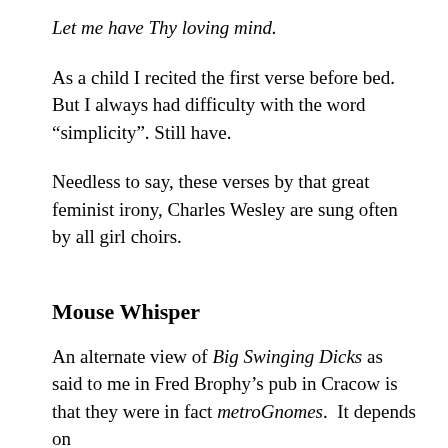Let me have Thy loving mind.
As a child I recited the first verse before bed. But I always had difficulty with the word “simplicity”. Still have.
Needless to say, these verses by that great feminist irony, Charles Wesley are sung often by all girl choirs.
Mouse Whisper
An alternate view of Big Swinging Dicks as said to me in Fred Brophy’s pub in Cracow is that they were in fact metroGnomes. It depends on